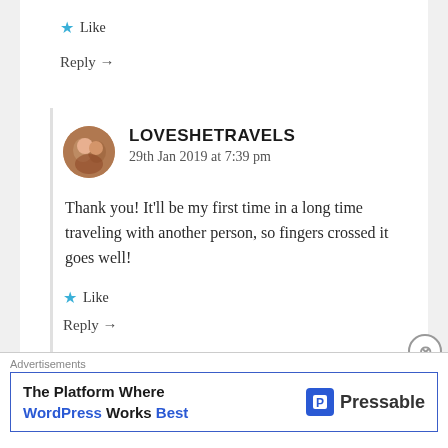★ Like
Reply →
LOVESHETRAVELS
29th Jan 2019 at 7:39 pm
Thank you! It'll be my first time in a long time traveling with another person, so fingers crossed it goes well!
★ Like
Reply →
Advertisements
The Platform Where WordPress Works Best — Pressable